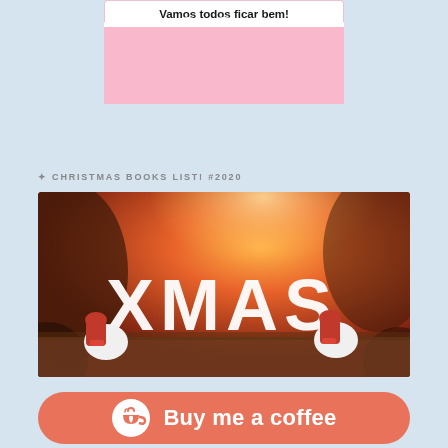[Figure (illustration): Pink card with wavy cloud border at bottom showing text 'Vamos todos ficar bem!' on white background with pink section below]
✦ CHRISTMAS BOOKS LIST! #2020
[Figure (photo): Christmas XMAS letters in white with Santa gnome figurines in front, warm orange/red bokeh background]
[Figure (illustration): Buy me a coffee button - salmon/coral rounded rectangle with white heart-cup logo and text 'Buy me a coffee']